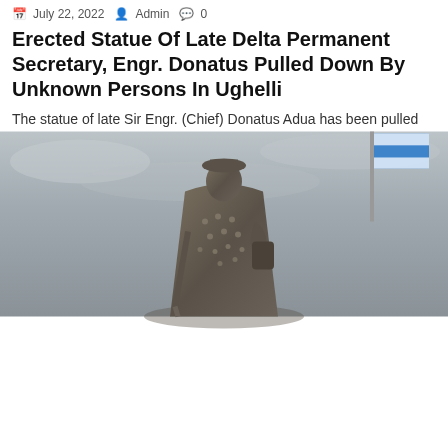[Figure (photo): Bronze statue of a man in traditional attire holding a cane, with a flag visible in the background and a grey cloudy sky]
July 22, 2022   Admin   0
Erected Statue Of Late Delta Permanent Secretary, Engr. Donatus Pulled Down By Unknown Persons In Ughelli
The statue of late Sir Engr. (Chief) Donatus Adua has been pulled down from the Makolomi...
Breaking
LifeStyle
Vital News
Advertisement
Religion